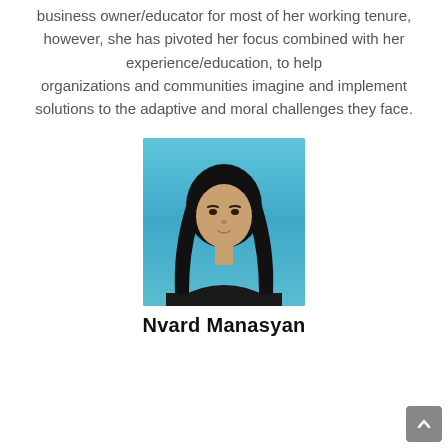business owner/educator for most of her working tenure, however, she has pivoted her focus combined with her experience/education, to help organizations and communities imagine and implement solutions to the adaptive and moral challenges they face.
[Figure (photo): Portrait photo of a woman with long dark hair wearing a black top, against a light blue background]
Nvard Manasyan